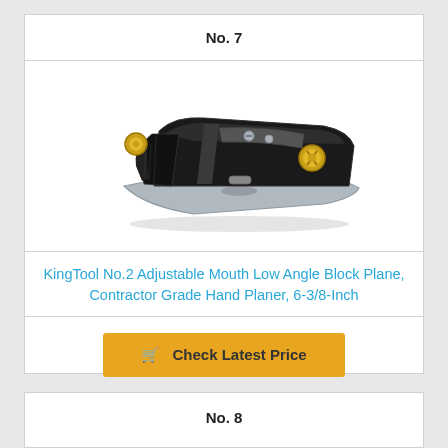No. 7
[Figure (photo): KingTool No.2 Adjustable Mouth Low Angle Block Plane, black body with brass knobs and silver sole plate]
KingTool No.2 Adjustable Mouth Low Angle Block Plane, Contractor Grade Hand Planer, 6-3/8-Inch
Check Latest Price
No. 8